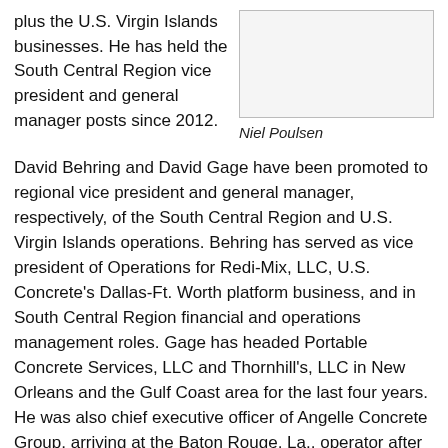plus the U.S. Virgin Islands businesses. He has held the South Central Region vice president and general manager posts since 2012.
[Figure (photo): Portrait photo of Niel Poulsen]
Niel Poulsen
David Behring and David Gage have been promoted to regional vice president and general manager, respectively, of the South Central Region and U.S. Virgin Islands operations. Behring has served as vice president of Operations for Redi-Mix, LLC, U.S. Concrete's Dallas-Ft. Worth platform business, and in South Central Region financial and operations management roles. Gage has headed Portable Concrete Services, LLC and Thornhill's, LLC in New Orleans and the Gulf Coast area for the last four years. He was also chief executive officer of Angelle Concrete Group, arriving at the Baton Rouge, La., operator after nearly 17 years in Lafarge North America management.